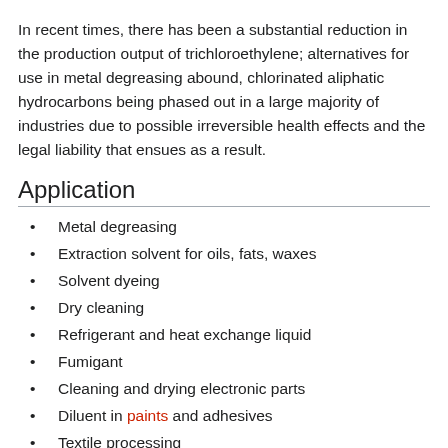In recent times, there has been a substantial reduction in the production output of trichloroethylene; alternatives for use in metal degreasing abound, chlorinated aliphatic hydrocarbons being phased out in a large majority of industries due to possible irreversible health effects and the legal liability that ensues as a result.
Application
Metal degreasing
Extraction solvent for oils, fats, waxes
Solvent dyeing
Dry cleaning
Refrigerant and heat exchange liquid
Fumigant
Cleaning and drying electronic parts
Diluent in paints and adhesives
Textile processing